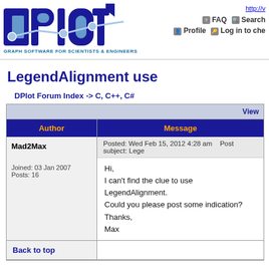[Figure (logo): DPlot logo - blue stylized letters spelling 'dplot' with graph line and dots, subtitle 'GRAPH SOFTWARE FOR SCIENTISTS & ENGINEERS']
http:// | FAQ | Search | Profile | Log in to che...
LegendAlignment use
DPlot Forum Index -> C, C++, C#
| Author | Message |
| --- | --- |
| Mad2Max

Joined: 03 Jan 2007
Posts: 16 | Posted: Wed Feb 15, 2012 4:28 am   Post subject: Lege...

Hi,
I can't find the clue to use LegendAlignment.
Could you please post some indication?
Thanks,
Max |
| Back to top |  |